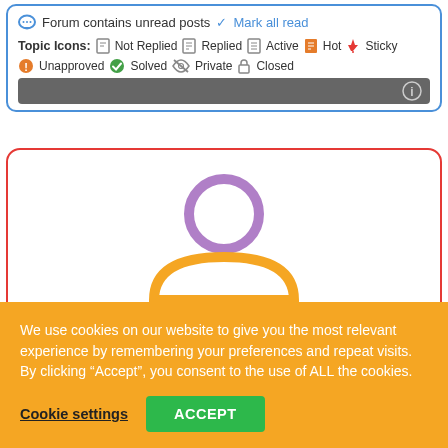Forum contains unread posts  Mark all read
Topic Icons: Not Replied  Replied  Active  Hot  Sticky  Unapproved  Solved  Private  Closed
[Figure (illustration): Gray info bar with circle-i icon on right]
[Figure (illustration): User avatar icon: purple circle (head) above orange semicircle (body), inside a red-bordered white card]
We use cookies on our website to give you the most relevant experience by remembering your preferences and repeat visits. By clicking “Accept”, you consent to the use of ALL the cookies.
Cookie settings  ACCEPT